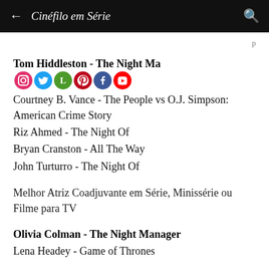← Cinéfilo em Série 🔍
p
Tom Hiddleston - The Night Ma[social icons]
Courtney B. Vance - The People vs O.J. Simpson: American Crime Story
Riz Ahmed - The Night Of
Bryan Cranston - All The Way
John Turturro - The Night Of
Melhor Atriz Coadjuvante em Série, Minissérie ou Filme para TV
Olivia Colman - The Night Manager
Lena Headey - Game of Thrones